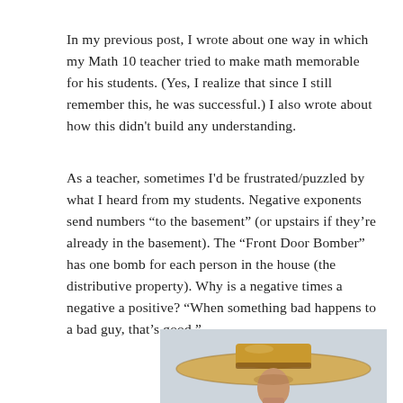In my previous post, I wrote about one way in which my Math 10 teacher tried to make math memorable for his students. (Yes, I realize that since I still remember this, he was successful.) I also wrote about how this didn't build any understanding.
As a teacher, sometimes I'd be frustrated/puzzled by what I heard from my students. Negative exponents send numbers “to the basement” (or upstairs if they’re already in the basement). The “Front Door Bomber” has one bomb for each person in the house (the distributive property). Why is a negative times a negative a positive? “When something bad happens to a bad guy, that’s good.”
[Figure (photo): Partial photo of a person wearing a large straw sombrero hat, cropped at the bottom of the page. Light gray/blue background.]